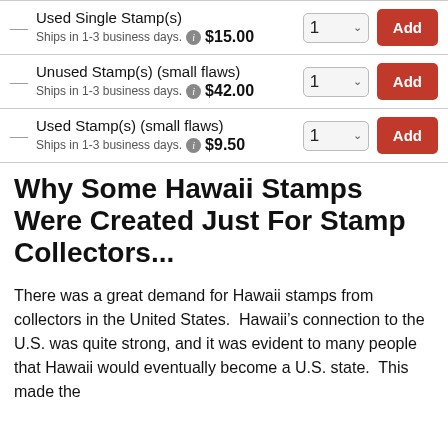| Item | Shipping | Price | Qty | Action |
| --- | --- | --- | --- | --- |
| Used Single Stamp(s) | Ships in 1-3 business days. | $15.00 | 1 | Add |
| Unused Stamp(s) (small flaws) | Ships in 1-3 business days. | $42.00 | 1 | Add |
| Used Stamp(s) (small flaws) | Ships in 1-3 business days. | $9.50 | 1 | Add |
Why Some Hawaii Stamps Were Created Just For Stamp Collectors...
There was a great demand for Hawaii stamps from collectors in the United States.  Hawaii’s connection to the U.S. was quite strong, and it was evident to many people that Hawaii would eventually become a U.S. state.  This made the